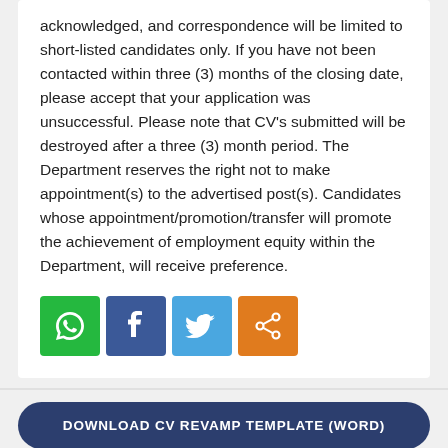acknowledged, and correspondence will be limited to short-listed candidates only. If you have not been contacted within three (3) months of the closing date, please accept that your application was unsuccessful. Please note that CV's submitted will be destroyed after a three (3) month period. The Department reserves the right not to make appointment(s) to the advertised post(s). Candidates whose appointment/promotion/transfer will promote the achievement of employment equity within the Department, will receive preference.
[Figure (infographic): Four social media share buttons: WhatsApp (green), Facebook (dark blue), Twitter (light blue), Share (orange), each as a square icon button.]
DOWNLOAD CV REVAMP TEMPLATE (WORD)